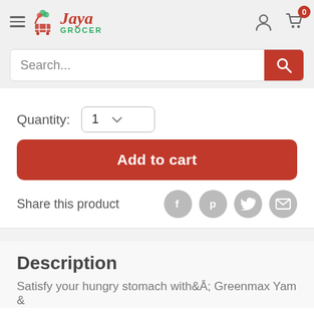[Figure (logo): Jaya Grocer logo with shopping cart icon and brand name]
Search...
Quantity: 1
Add to cart
Share this product
Description
Satisfy your hungry stomach withÂ Greenmax Yam &